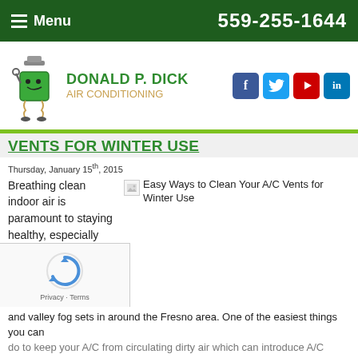Menu   559-255-1644
[Figure (logo): Donald P. Dick Air Conditioning logo with green mascot character holding tools, company name in green and tan]
VENTS FOR WINTER USE
Thursday, January 15th, 2015
[Figure (photo): Easy Ways to Clean Your A/C Vents for Winter Use - article image (broken/loading)]
Breathing clean indoor air is paramount to staying healthy, especially during the winter months
[Figure (other): reCAPTCHA widget with circular arrow logo and Privacy/Terms links]
and valley fog sets in around the Fresno area. One of the easiest things you can do to keep your A/C from circulating dirty air which can introduce A/C